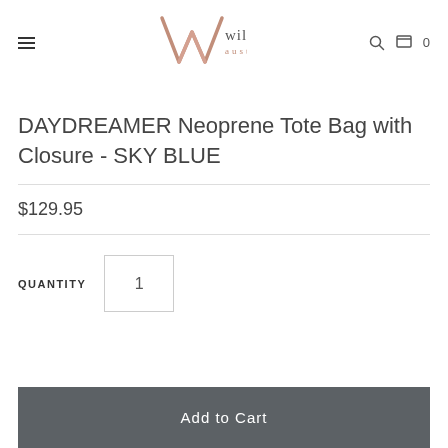willow bay australia
DAYDREAMER Neoprene Tote Bag with Closure - SKY BLUE
$129.95
QUANTITY 1
Add to Cart